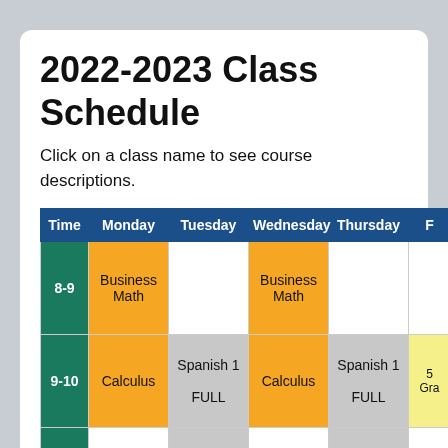2022-2023 Class Schedule
Click on a class name to see course descriptions.
| Time | Monday | Tuesday | Wednesday | Thursday | F... |
| --- | --- | --- | --- | --- | --- |
| 8-9 | Business Math |  | Business Math |  |  |
| 9-10 | Calculus | Spanish 1 FULL | Calculus | Spanish 1 FULL | 5... Gra... |
| 10-11 | World... | Great... | World... | Great... | M0... |